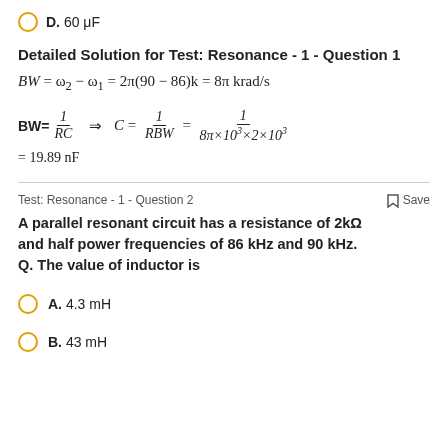D. 60 μF
Detailed Solution for Test: Resonance - 1 - Question 1
= 19.89 nF
Test: Resonance - 1 - Question 2
A parallel resonant circuit has a resistance of 2kΩ and half power frequencies of 86 kHz and 90 kHz. Q. The value of inductor is
A. 4.3 mH
B. 43 mH